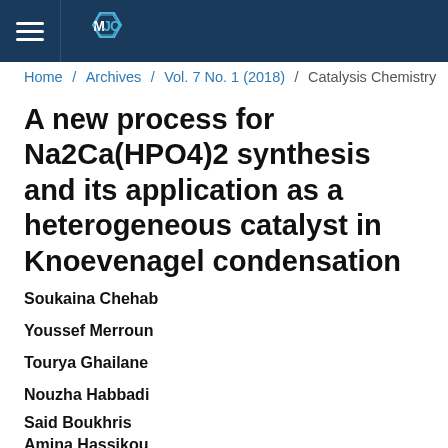MJC
Home / Archives / Vol. 7 No. 1 (2018) / Catalysis Chemistry
A new process for Na2Ca(HPO4)2 synthesis and its application as a heterogeneous catalyst in Knoevenagel condensation
Soukaina Chehab
Youssef Merroun
Tourya Ghailane
Nouzha Habbadi
Said Boukhris
Amina Hassikou